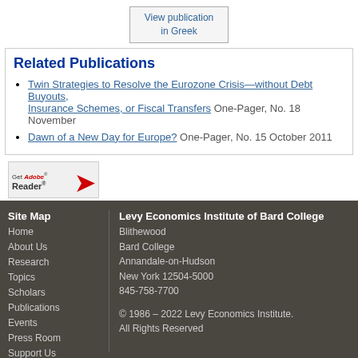View publication in Greek
Related Publications
Twin Strategies to Resolve the Eurozone Crisis—without Debt Buyouts, Insurance Schemes, or Fiscal Transfers One-Pager, No. 18 November
Dawn of a New Day for Europe? One-Pager, No. 15 October 2011
[Figure (logo): Get Adobe Reader badge with red swoosh logo]
Site Map | Home | About Us | Research | Topics | Scholars | Publications | Events | Press Room | Support Us | Bard College | Levy Economics Institute of Bard College | Blithewood | Bard College | Annandale-on-Hudson | New York 12504-5000 | 845-758-7700 | © 1986 – 2022 Levy Economics Institute. All Rights Reserved